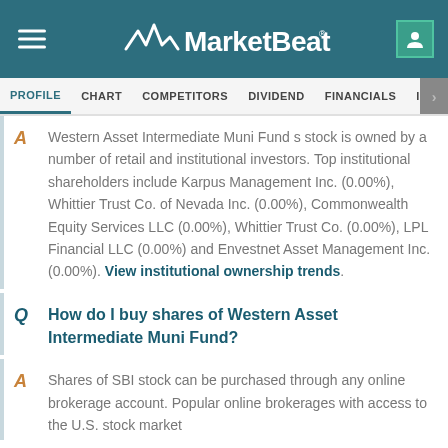MarketBeat
PROFILE CHART COMPETITORS DIVIDEND FINANCIALS INSIDER TRADES
Western Asset Intermediate Muni Fund s stock is owned by a number of retail and institutional investors. Top institutional shareholders include Karpus Management Inc. (0.00%), Whittier Trust Co. of Nevada Inc. (0.00%), Commonwealth Equity Services LLC (0.00%), Whittier Trust Co. (0.00%), LPL Financial LLC (0.00%) and Envestnet Asset Management Inc. (0.00%). View institutional ownership trends.
Q  How do I buy shares of Western Asset Intermediate Muni Fund?
A  Shares of SBI stock can be purchased through any online brokerage account. Popular online brokerages with access to the U.S. stock market